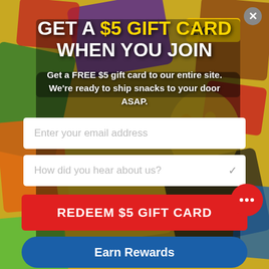[Figure (screenshot): Background of colorful international snack packages and candy bags arranged together — yellow, red, green, purple packaging visible]
GET A $5 GIFT CARD WHEN YOU JOIN
Get a FREE $5 gift card to our entire site. We're ready to ship snacks to your door ASAP.
Enter your email address
How did you hear about us?
REDEEM $5 GIFT CARD
Earn Rewards